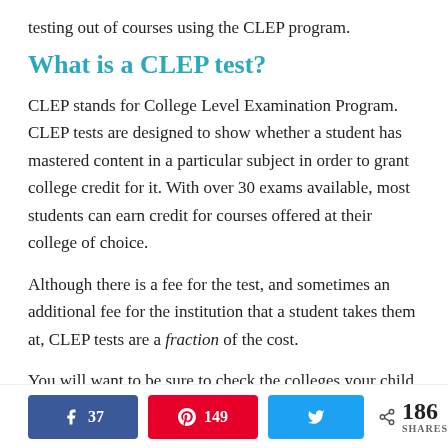testing out of courses using the CLEP program.
What is a CLEP test?
CLEP stands for College Level Examination Program. CLEP tests are designed to show whether a student has mastered content in a particular subject in order to grant college credit for it. With over 30 exams available, most students can earn credit for courses offered at their college of choice.
Although there is a fee for the test, and sometimes an additional fee for the institution that a student takes them at, CLEP tests are a fraction of the cost.
You will want to be sure to check the colleges your child is considering before choosing CLEP exams to take. Each college accepts different exams and
k 37   ♥ 149   Twitter share   < 186 SHARES